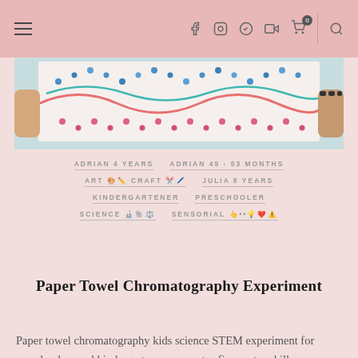≡  f  ⊙  ⊕  ▶  🛒0  🔍
[Figure (photo): Close-up photo of paper towel chromatography art showing colorful dot and wave patterns in blue, teal, pink and red on white paper, hands visible at edges]
ADRIAN 4 YEARS   ADRIAN 49 - 53 MONTHS   ART 🎨✏️  CRAFT ✂️🖊️   JULIA 8 YEARS   KINDERGARTENER   PRESCHOOLER   SCIENCE 🔬🐘⚖️   SENSORIAL 👆••💡❤️⚠️
Paper Towel Chromatography Experiment
Paper towel chromatography kids science STEM experiment for preschoolers and kindergarteners promotes fine motor skills, concentration, and creativity. Are you looking for the best kids science STEM experiment using items around the house? Paper